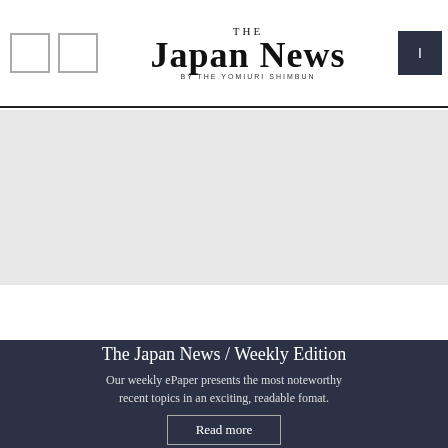THE JAPAN NEWS BY THE YOMIURI SHIMBUN
[Figure (other): Gray banner/advertisement area]
The Japan News / Weekly Edition
Our weekly ePaper presents the most noteworthy recent topics in an exciting, readable fomat.
Read more